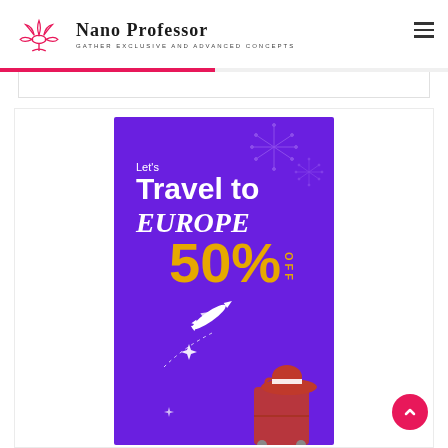Nano Professor — GATHER EXCLUSIVE AND ADVANCED CONCEPTS
[Figure (illustration): Travel advertisement banner on purple background. Text reads: Let's Travel to EUROPE 50% OFF. Features white airplane, fireworks, red hat with luggage illustration.]